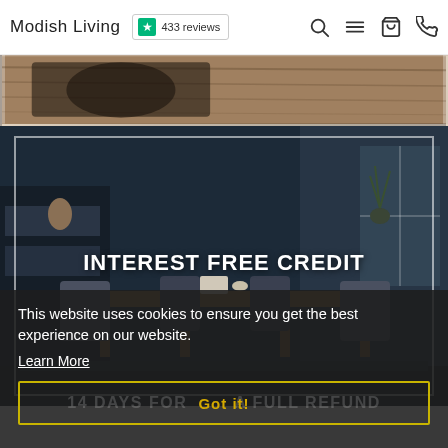Modish Living | 433 reviews
[Figure (screenshot): Partial image of a wooden surface with dark object, top of main content area]
[Figure (screenshot): Dark interior dining room scene with table and chairs, navy walls, text overlay INTEREST FREE CREDIT]
INTEREST FREE CREDIT
This website uses cookies to ensure you get the best experience on our website.
Learn More
14 DAYS FOR A FULL REFUND
Got it!